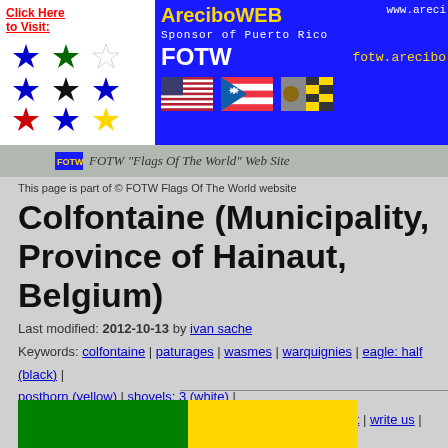[Figure (screenshot): AreciboWEB banner with colored stars (blue, green, white, black, red, yellow), text 'AreciboWEB', 'Sponsor of Puerto Rico', 'FOTW', 'fotw.arecibo...', 'www.areci...' and three small flags (US, Puerto Rico, another)]
[Figure (screenshot): FOTW 'Flags Of The World' Web Site bar with small FOTW icon]
This page is part of © FOTW Flags Of The World website
Colfontaine (Municipality, Province of Hainaut, Belgium)
Last modified: 2012-10-13 by ivan sache
Keywords: colfontaine | paturages | wasmes | warquignies | eagle: half (black) | posthorn (yellow) | shovels: 3 (white) |
Links: FOTW homepage | search | disclaimer and copyright | write us | mirrors
[Figure (illustration): Flag image showing green left half and yellow right half]